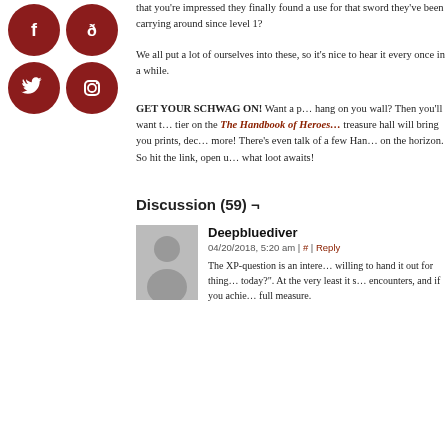[Figure (other): Four dark red circular social media icons: Facebook, DeviantArt, Twitter, Instagram]
that you're impressed they finally found a use for that sword they've been carrying around since level 1?

We all put a lot of ourselves into these, so it's nice to hear it every once in a while.
GET YOUR SCHWAG ON! Want a poster to hang on you wall? Then you'll want to back a tier on the The Handbook of Heroes Patreon! The treasure hall will bring you prints, decals, and more! There's even talk of a few Handbooks on the horizon. So hit the link, open up, and see what loot awaits!
Discussion (59) ¬
[Figure (illustration): Gray placeholder avatar silhouette of a person]
Deepbluediver
04/20/2018, 5:20 am | # | Reply
The XP-question is an interesting one. Who is willing to hand it out for things that happen today?". At the very least it seems encounters, and if you achie full measure.